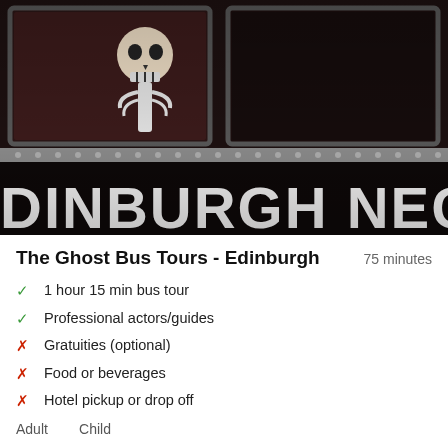[Figure (photo): Dark photo of a bus window with a skull visible inside; lower portion shows 'DINBURGH NECROBU...' text on the bus side in large white letters on black]
The Ghost Bus Tours - Edinburgh
75 minutes
1 hour 15 min bus tour
Professional actors/guides
Gratuities (optional)
Food or beverages
Hotel pickup or drop off
Adult    Child